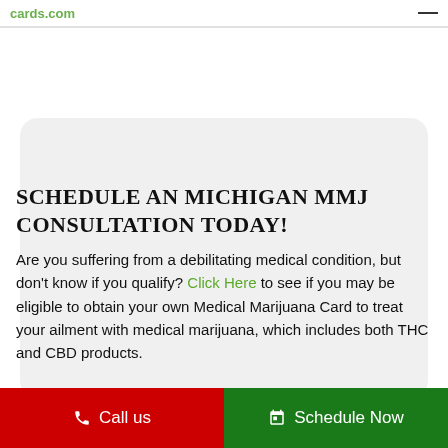cards.com
SCHEDULE AN MICHIGAN MMJ CONSULTATION TODAY!
Are you suffering from a debilitating medical condition, but don't know if you qualify? Click Here to see if you may be eligible to obtain your own Medical Marijuana Card to treat your ailment with medical marijuana, which includes both THC and CBD products.
Call us  |  Schedule Now